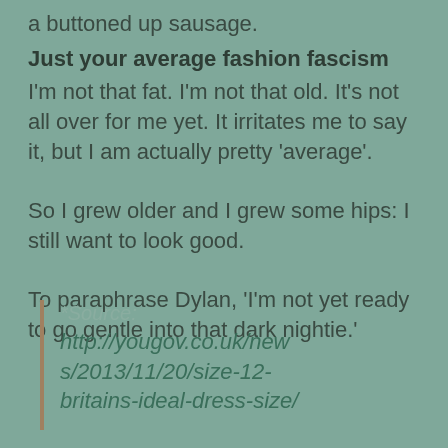a buttoned up sausage.
Just your average fashion fascism
I'm not that fat. I'm not that old. It's not all over for me yet. It irritates me to say it, but I am actually pretty 'average'.
So I grew older and I grew some hips: I still want to look good.
To paraphrase Dylan, 'I'm not yet ready to go gentle into that dark nightie.'
*Source:
http://yougov.co.uk/news/2013/11/20/size-12-britains-ideal-dress-size/